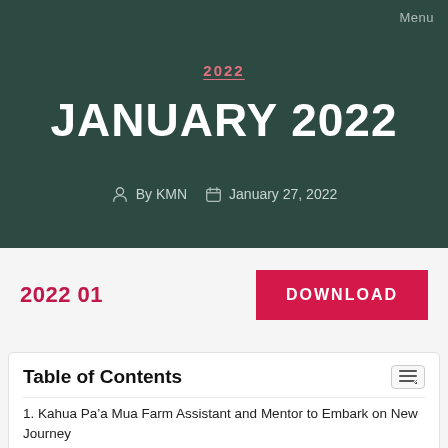Menu
2022
JANUARY 2022
By KMN   January 27, 2022
2022 01
DOWNLOAD
Table of Contents
1. Kahua Pa’a Mua Farm Assistant and Mentor to Embark on New Journey